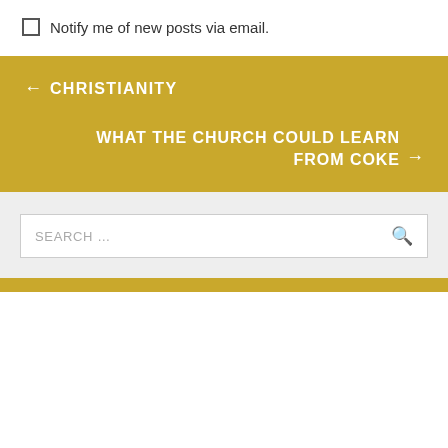Notify me of new posts via email.
← CHRISTIANITY
WHAT THE CHURCH COULD LEARN FROM COKE →
SEARCH …